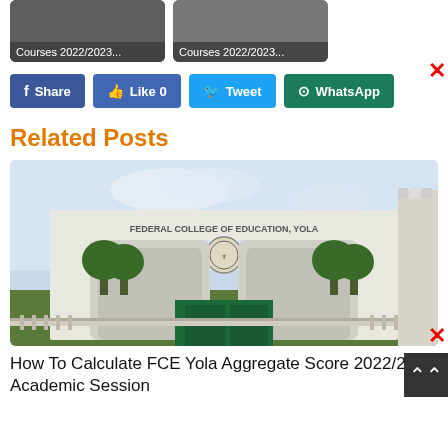[Figure (screenshot): Two thumbnail cards with dark overlays showing text 'Courses 2022/2023...']
[Figure (screenshot): Social share buttons: Share (Facebook), Like 0 (Facebook), Tweet (Twitter), WhatsApp (WhatsApp)]
Related Posts
[Figure (photo): Photo of Federal College of Education Yola gate entrance, white arch structure with 'FEDERAL COLLEGE OF EDUCATION, YOLA' text, trees in background]
How To Calculate FCE Yola Aggregate Score 2022/2023 Academic Session